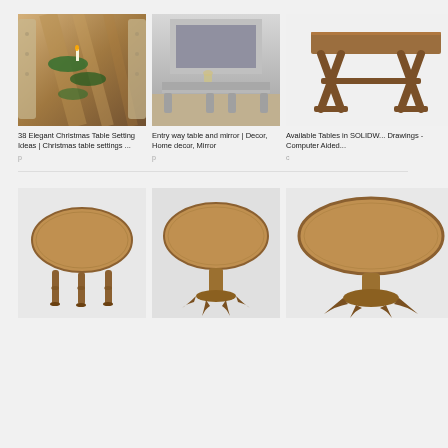[Figure (photo): Overhead view of a long wooden dining table with Christmas garland and candles, tufted chairs on sides]
38 Elegant Christmas Table Setting Ideas | Christmas table settings ...
p
[Figure (photo): Silver mirrored console table with decorative silver framed mirror above it]
Entry way table and mirror | Decor, Home decor, Mirror
p
[Figure (photo): Brown wooden X-frame side table, 3D model style on white background]
Available Tables in SOLIDW... Drawings - Computer Aided...
c
[Figure (photo): Oval wooden dining table with turned legs, light background]
[Figure (photo): Oval wooden pedestal dining table with claw feet, light background]
[Figure (photo): Round wooden pedestal table, close-up, light background]